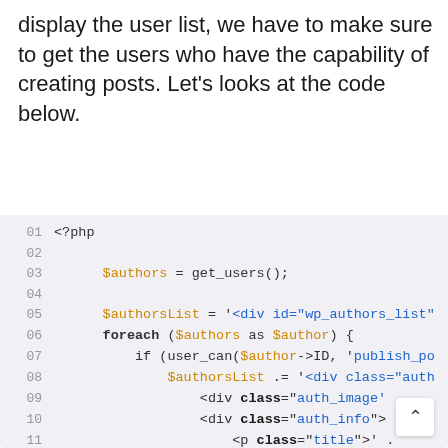display the user list, we have to make sure to get the users who have the capability of creating posts. Let's looks at the code below.
[Figure (screenshot): PHP code block showing a WordPress function to get authors list. Lines 01-20 showing PHP code with syntax highlighting: $authors = get_users(); $authorsList variable assigned with HTML div strings, foreach loop over $authors as $author, if user_can check, and building HTML markup for auth_image, auth_info, auth_follow, frm_cls divs.]